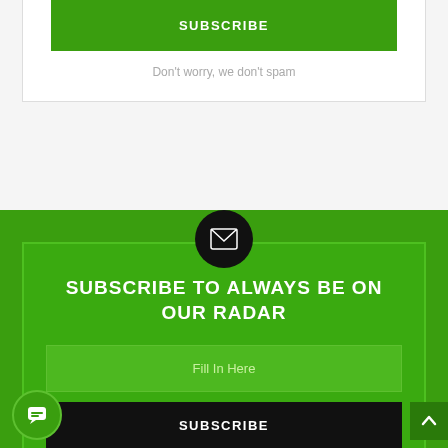SUBSCRIBE
Don't worry, we don't spam
[Figure (illustration): Email envelope icon in black circle]
SUBSCRIBE TO ALWAYS BE ON OUR RADAR
Fill In Here
SUBSCRIBE
Don't worry, we don't spam